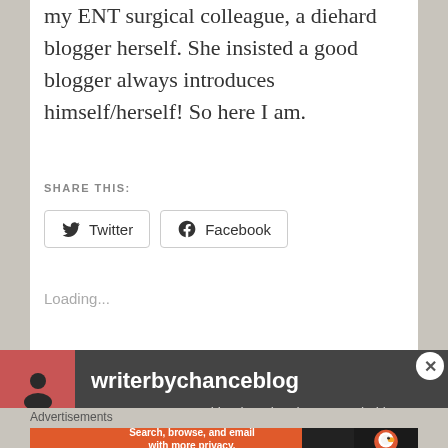my ENT surgical colleague, a diehard blogger herself. She insisted a good blogger always introduces himself/herself! So here I am.
SHARE THIS:
Twitter  Facebook
Loading...
writerbychanceblog
I am a surgeon working in Lake shore Hospital in Kochi, a city in the state of Kerala at the southern
Advertisements
[Figure (screenshot): DuckDuckGo advertisement banner: orange background with text 'Search, browse, and email with more privacy. All in One Free App' and DuckDuckGo logo on dark background]